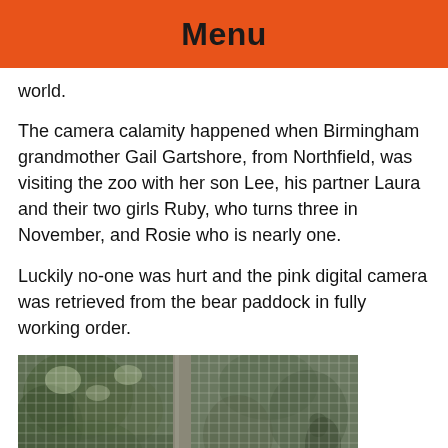Menu
world.
The camera calamity happened when Birmingham grandmother Gail Gartshore, from Northfield, was visiting the zoo with her son Lee, his partner Laura and their two girls Ruby, who turns three in November, and Rosie who is nearly one.
Luckily no-one was hurt and the pink digital camera was retrieved from the bear paddock in fully working order.
[Figure (photo): A zoo enclosure fence/mesh with trees and foliage visible behind the wire mesh netting. A concrete or metal pole is visible in the center dividing the image.]